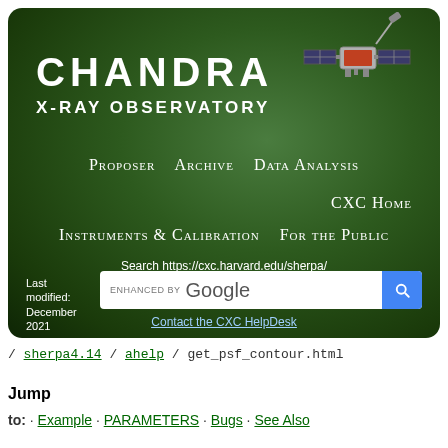[Figure (screenshot): Chandra X-ray Observatory website banner with dark green gradient background, showing the Chandra logo text, X-ray Observatory subtitle, navigation links (Proposer, Archive, Data Analysis, CXC Home, Instruments & Calibration, For the Public), a Google search bar for https://cxc.harvard.edu/sherpa/, a satellite illustration, and a 'Last modified: December 2021' notice.]
/ sherpa4.14 / ahelp / get_psf_contour.html
Jump
to: · Example · PARAMETERS · Bugs · See Also